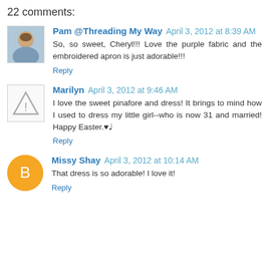22 comments:
Pam @Threading My Way  April 3, 2012 at 8:39 AM
So, so sweet, Cheryl!!! Love the purple fabric and the embroidered apron is just adorable!!!
Reply
Marilyn  April 3, 2012 at 9:46 AM
I love the sweet pinafore and dress! It brings to mind how I used to dress my little girl--who is now 31 and married! Happy Easter.♥♩
Reply
Missy Shay  April 3, 2012 at 10:14 AM
That dress is so adorable! I love it!
Reply